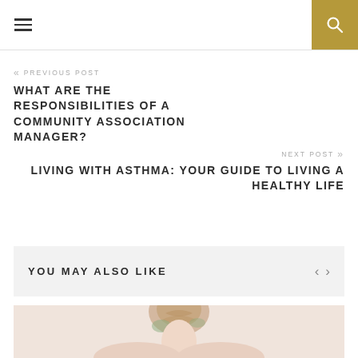≡   🔍
« PREVIOUS POST
WHAT ARE THE RESPONSIBILITIES OF A COMMUNITY ASSOCIATION MANAGER?
NEXT POST »
LIVING WITH ASTHMA: YOUR GUIDE TO LIVING A HEALTHY LIFE
YOU MAY ALSO LIKE
[Figure (photo): Woman with braided hair, partial view, soft pink/warm background]